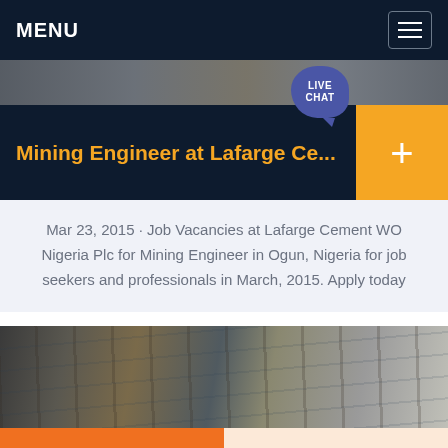MENU
Mining Engineer at Lafarge Ce...
[Figure (photo): Industrial mining or cement plant machinery photo — conveyor belts and steel structures]
Mar 23, 2015 · Job Vacancies at Lafarge Cement WO Nigeria Plc for Mining Engineer in Ogun, Nigeria for job seekers and professionals in March, 2015. Apply today
Get a Quote
WhatsApp